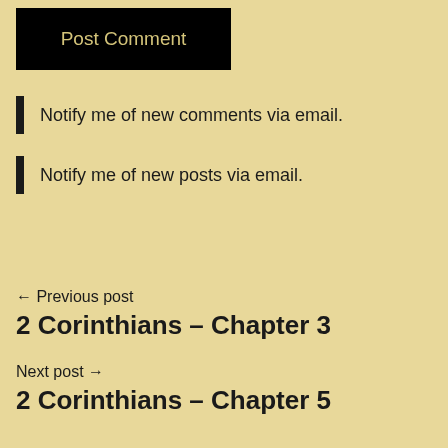Post Comment
Notify me of new comments via email.
Notify me of new posts via email.
← Previous post
2 Corinthians – Chapter 3
Next post →
2 Corinthians – Chapter 5